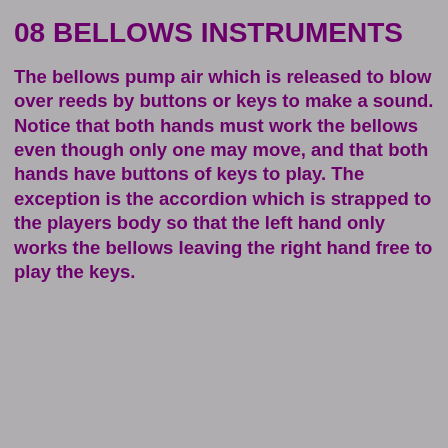08 BELLOWS INSTRUMENTS
The bellows pump air which is released to blow over reeds by buttons or keys to make a sound. Notice that both hands must work the bellows even though only one may move, and that both hands have buttons of keys to play. The exception is the accordion which is strapped to the players body so that the left hand only works the bellows leaving the right hand free to play the keys.